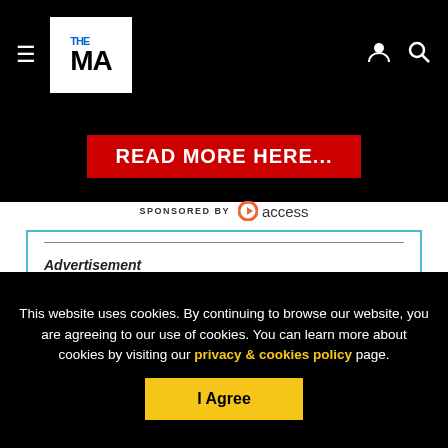THE MA — navigation bar with hamburger menu, logo, user icon, search icon
[Figure (other): Advertisement banner with black background and red 'READ MORE HERE...' button]
SPONSORED BY access
Advertisement
About the Norwegian Seafood Council
This website uses cookies. By continuing to browse our website, you are agreeing to our use of cookies. You can learn more about cookies by visiting our privacy & cookies policy page.
I Agree